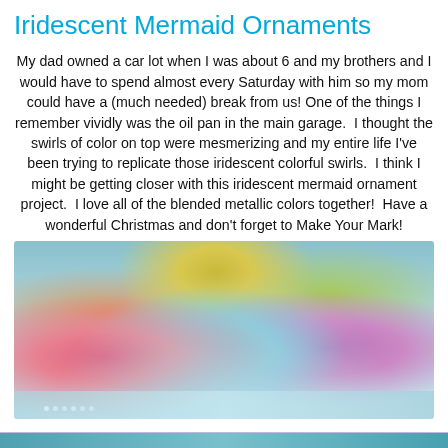Iridescent Mermaid Ornaments
My dad owned a car lot when I was about 6 and my brothers and I would have to spend almost every Saturday with him so my mom could have a (much needed) break from us!  One of the things I remember vividly was the oil pan in the main garage.  I thought the swirls of color on top were mesmerizing and my entire life I've been trying to replicate those iridescent colorful swirls.  I think I might be getting closer with this iridescent mermaid ornament project.  I love all of the blended metallic colors together!  Have a wonderful Christmas and don't forget to Make Your Mark!
[Figure (photo): Three iridescent mermaid ornaments decorated with colorful crocheted net covers in pink, teal, green, and purple hues, adorned with small blue gems, sitting on a silver fabric with pearl beads, with gold tinsel in the background.]
[Figure (photo): Partial view of another image at the bottom of the page (cropped).]